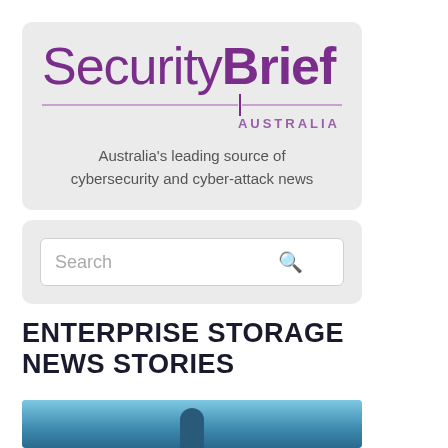[Figure (logo): SecurityBrief Australia logo with purple text, horizontal lines, and tagline 'Australia's leading source of cybersecurity and cyber-attack news']
[Figure (screenshot): Search bar input with magnifying glass icon on a light grey background]
ENTERPRISE STORAGE NEWS STORIES
[Figure (photo): Blue-toned photo of a person in a suit with a glowing light element]